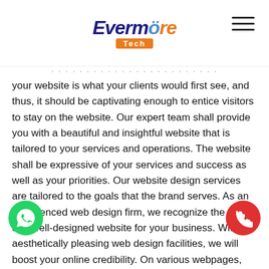Evermore Tech
your website is what your clients would first see, and thus, it should be captivating enough to entice visitors to stay on the website. Our expert team shall provide you with a beautiful and insightful website that is tailored to your services and operations. The website shall be expressive of your services and success as well as your priorities. Our website design services are tailored to the goals that the brand serves. As an experienced web design firm, we recognize the value of a well-designed website for your business. With aesthetically pleasing web design facilities, we will boost your online credibility. On various webpages, our knowledgeable and qualified expert can demonstrate the basic structure and elements of your website. This will provide you with an understanding of how the site will look to visitors. For ease of use, we'll provide clear call-to-action buttons and multiple categories related to your company.
[Figure (other): WhatsApp contact button (green circle with phone icon) at bottom left]
[Figure (other): Phone contact button (red circle with phone icon) at bottom right]